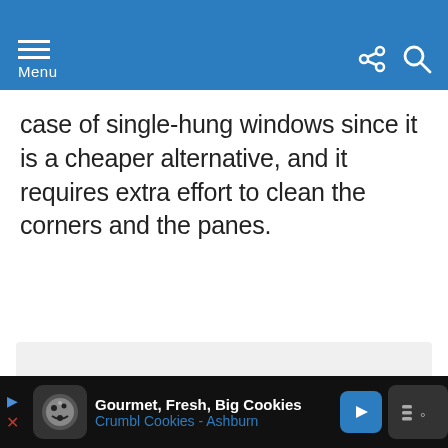Menu
case of single-hung windows since it is a cheaper alternative, and it requires extra effort to clean the corners and the panes.
[Figure (other): Image placeholder with three pagination dots]
Gourmet, Fresh, Big Cookies Crumbl Cookies - Ashburn